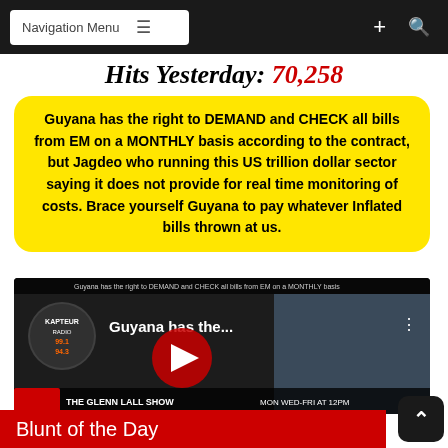Navigation Menu
Hits Yesterday: 70,258
Guyana has the right to DEMAND and CHECK all bills from EM on a MONTHLY basis according to the contract, but Jagdeo who running this US trillion dollar sector saying it does not provide for real time monitoring of costs. Brace yourself Guyana to pay whatever Inflated bills thrown at us.
[Figure (screenshot): YouTube video thumbnail showing 'Guyana has the...' with play button, radio station logo, and THE GLENN LALL SHOW lower third banner]
Blunt of the Day